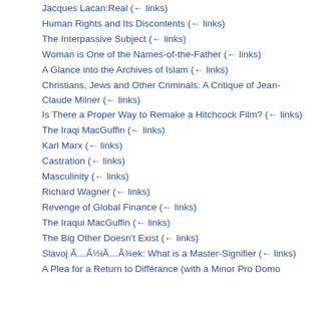Jacques Lacan:Real  (← links)
Human Rights and Its Discontents  (← links)
The Interpassive Subject  (← links)
Woman is One of the Names-of-the-Father  (← links)
A Glance into the Archives of Islam  (← links)
Christians, Jews and Other Criminals: A Critique of Jean-Claude Milner  (← links)
Is There a Proper Way to Remake a Hitchcock Film?  (← links)
The Iraqi MacGuffin  (← links)
Karl Marx  (← links)
Castration  (← links)
Masculinity  (← links)
Richard Wagner  (← links)
Revenge of Global Finance  (← links)
The Iraqui MacGuffin  (← links)
The Big Other Doesn't Exist  (← links)
Slavoj Ã…Â½iÃ…Â¾ek: What is a Master-Signifier  (← links)
A Plea for a Return to Différance (with a Minor Pro Domo…)